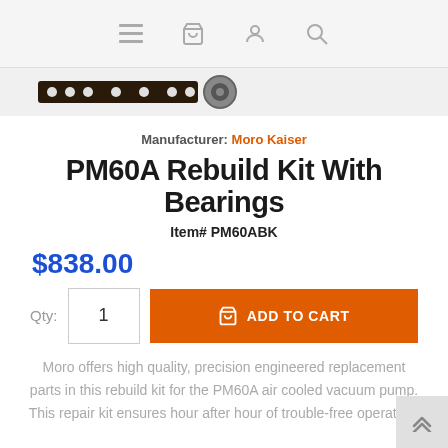Navigation bar with menu, cart, user, and search icons
[Figure (photo): Product images showing a PM60A rebuild kit component strip and bearing]
Manufacturer: Moro Kaiser
PM60A Rebuild Kit With Bearings
Item# PM60ABK
$838.00
Qty: 1  ADD TO CART
Moro offers high quality, precision engineered replacement parts in this rebuild kit for the PM60A air cooled vacuum pump. This repair kit ensures hour after hour of trouble-free operation.